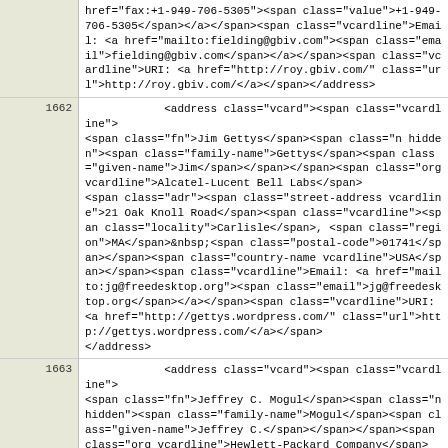href="fax:+1-949-706-5305"><span class="value">+1-949-706-5305</span></a></span><span class="vcardline">Email: <a href="mailto:fielding@gbiv.com"><span class="email">fielding@gbiv.com</span></a></span><span class="vcardline">URI: <a href="http://roy.gbiv.com/" class="url">http://roy.gbiv.com/</a></span></address>
1662  <address class="vcard"><span class="vcardline"><span class="fn">Jim Gettys</span><span class="n hidden"><span class="family-name">Gettys</span><span class="given-name">Jim</span></span></span><span class="org vcardline">Alcatel-Lucent Bell Labs</span><span class="adr"><span class="street-address vcardline">21 Oak Knoll Road</span><span class="vcardline"><span class="locality">Carlisle</span>, <span class="region">MA</span>&nbsp;<span class="postal-code">01741</span></span><span class="country-name vcardline">USA</span></span><span class="vcardline">Email: <a href="mailto:jg@freedesktop.org"><span class="email">jg@freedesktop.org</span></a></span><span class="vcardline">URI: <a href="http://gettys.wordpress.com/" class="url">http://gettys.wordpress.com/</a></span></address>
1663  <address class="vcard"><span class="vcardline"><span class="fn">Jeffrey C. Mogul</span><span class="n hidden"><span class="family-name">Mogul</span><span class="given-name">Jeffrey C.</span></span></span><span class="org vcardline">Hewlett-Packard Company</span><span class="adr"><span class="street-address vcardline">HP Labs, Large Scale Systems Group</span><span class="street-address vcardline">1501 Page Mill Road, MS 1177</span><span class="vcardline"><span class="locality">Palo Alto</span>, <span class="region">CA</span>&nbsp;<span class="postal-code">94304</span></span><span class="country-name vcardline">